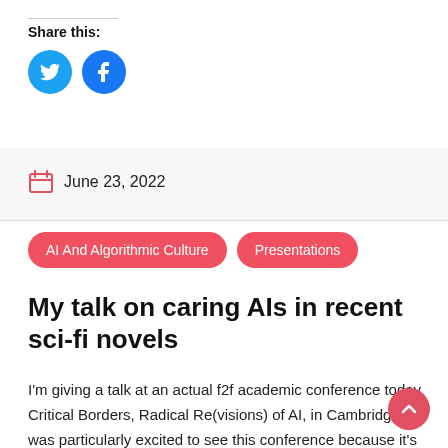Share this:
[Figure (illustration): Twitter and Facebook social sharing circular icon buttons in blue]
June 23, 2022
AI And Algorithmic Culture
Presentations
My talk on caring AIs in recent sci-fi novels
I'm giving a talk at an actual f2f academic conference today, Critical Borders, Radical Re(visions) of AI, in Cambridge. I was particularly excited to see this conference because it's organised by the people who edited AI Narratives A History of Imaginative Thinking